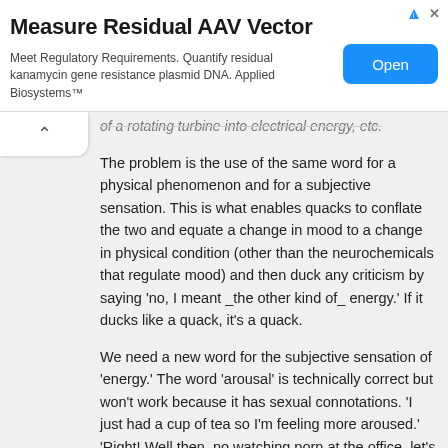[Figure (other): Advertisement banner: 'Measure Residual AAV Vector' — Meet Regulatory Requirements. Quantify residual kanamycin gene resistance plasmid DNA. Applied Biosystems™ with an Open button.]
of a rotating turbine into electrical energy, etc.
The problem is the use of the same word for a physical phenomenon and for a subjective sensation. This is what enables quacks to conflate the two and equate a change in mood to a change in physical condition (other than the neurochemicals that regulate mood) and then duck any criticism by saying 'no, I meant _the other kind of_ energy.' If it ducks like a quack, it's a quack.
We need a new word for the subjective sensation of 'energy.' The word 'arousal' is technically correct but won't work because it has sexual connotations. 'I just had a cup of tea so I'm feeling more aroused.' 'Right! Well then, no watching porn at the office, let's get back to work.'